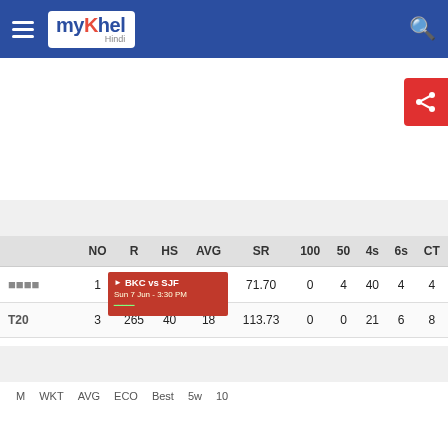myKhel Hindi
|  | NO | R | HS | AVG | SR | 100 | 50 | 4s | 6s | CT |
| --- | --- | --- | --- | --- | --- | --- | --- | --- | --- | --- |
| □□□□ | 1 | 461 | 68 | 35 | 71.70 | 0 | 4 | 40 | 4 | 4 |
| T20 | 3 | 265 | 40 | 18 | 113.73 | 0 | 0 | 21 | 6 | 8 |
M  WKT  AVG  ECO  Best  5w  10